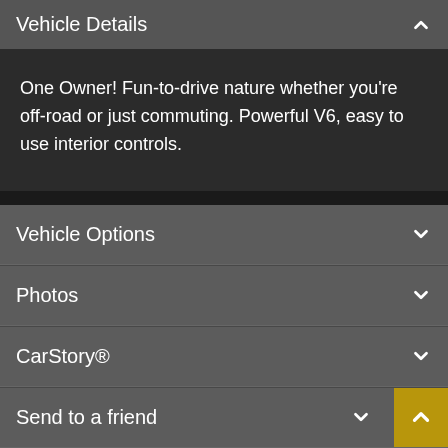Vehicle Details
One Owner! Fun-to-drive nature whether you're off-road or just commuting. Powerful V6, easy to use interior controls.
Vehicle Options
Photos
CarStory®
Send to a friend
Printable Brochure
Text Us